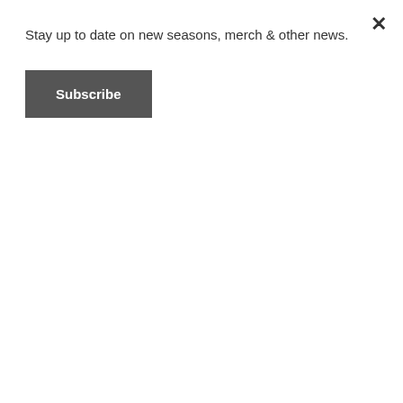Stay up to date on new seasons, merch & other news.
Subscribe
Order Alphamox Overseas (strikethrough/faded)
Alphamox Overnight Canada
Pharmacy Alphamox no prescrption
Order Alphamox In USA
Alphamox (Amoxycillin) – 4nrx
Flexyx: Ospamox (Generic name – Amoxicillin) OnLine Information
Alphamox Order Online Overnight
Generic Alphamox overnight
Alphamox Without Prescription Medications
Amoxycillin – HealthKosh
Buy Alphamox Online FedEx
Buy Alphamox England
Buy Alphamox online Express Courier Delivery
Water ridge dual flush toilet manual
Where To Buy Cheap Alphamox Online?
Buy Alphamox sale online
Buy Alphamox Canada Pharmacy